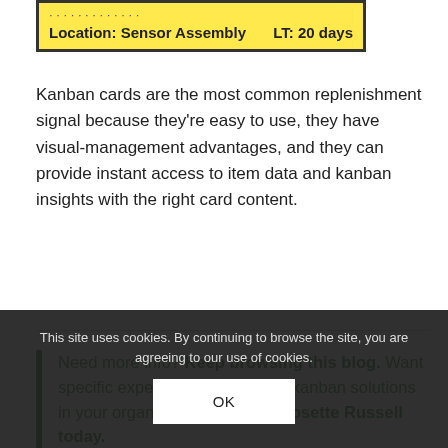[Figure (other): Kanban card with yellow background showing Location: Sensor Assembly and LT: 20 days]
Kanban cards are the most common replenishment signal because they're easy to use, they have visual-management advantages, and they can provide instant access to item data and kanban insights with the right card content.
Need more info? Keep browsing this blog. Want specific expertise implementing kanban solutions in your organization? Contact Josette Russell today.
This site uses cookies. By continuing to browse the site, you are agreeing to our use of cookies.